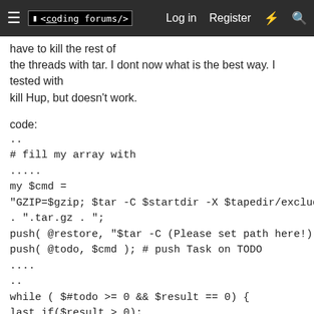≡  <coding forums/>   Log in   Register   ⚡   🔍
have to kill the rest of the threads with tar. I dont now what is the best way. I tested with
kill Hup, but doesn't work.
code:
..
# fill my array with
.....
my $cmd =
"GZIP=$gzip; $tar -C $startdir -X $tapedir/exclude -czf $tapedir/$dname"
. ".tar.gz . ";
push( @restore, "$tar -C (Please set path here!) -xzvf $dname.tar.gz" );
push( @todo, $cmd ); # push Task on TODO
....
..
while ( $#todo >= 0 && $result == 0) {
last if($result > 0);